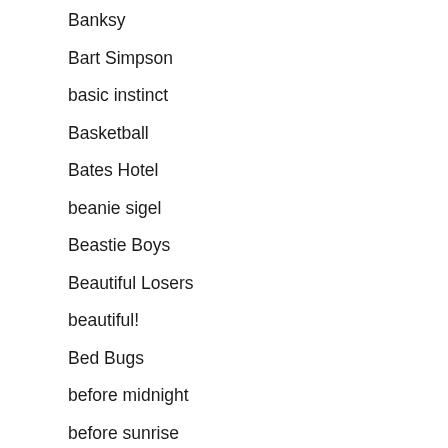Banksy
Bart Simpson
basic instinct
Basketball
Bates Hotel
beanie sigel
Beastie Boys
Beautiful Losers
beautiful!
Bed Bugs
before midnight
before sunrise
before sunset
before trilogy
behind the candelabra
Behind the scenes
Bellflower